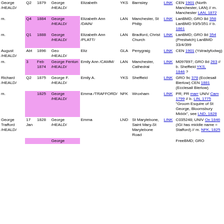| Relative | Q | Year | Groom /HEALD/ | Bride | Cty | Place | Link | Notes |
| --- | --- | --- | --- | --- | --- | --- | --- | --- |
| George /HEALD/ | Q2 | 1879 | George /HEALD/ | Elizabeth | YKS | Barnsley | LINK | CEN 1901 (North Manchester, LAN) // m. Manchester LAN, 1872 |
| m. | Q4 | 1884 | George /HEALD/ | Elizabeth Ann /DAIN/ | LAN | Manchester, St Philip | LINK | LanBMD; GRO 8d 358 LanBMD 93/5/351 // b. 1861 |
| m. | Q1 | 1888 | George /HEALD/ | Elizabeth Ann /PLATT/ | LAN | Bradford, Christ Church | LINK | LanBMD; GRO 8d 354 (Prestwich) LanBMD 33/4/399 |
| August /HEALD/ | Abt | 1896 | Geo /HEALD/ | Eliz | GLA | Penygraig | LINK | CEN 1901 (Ystradyfodwg) |
| m. | 3 | Feb 1874 | George Fenton /HEALD/ | Emily Ann /CAMM/ | LAN | Manchester, Cathedral | LINK | M097897; GRO 8d 263 // b. Sheffield YKS, 1846 ? |
| Richard /HEALD/ | Q2 | 1875 | George F. /HEALD/ | Emily A. | YKS | Sheffield | LINK | GRO 9c 378 (Ecclesall Bierlow) CEN 1881 (Ecclesall Bierlow) |
| m. |  | 1825 | George /HEALD/ | Emma /TRAFFORD/ | NFK | Wroxham | LINK | PR; PR marr UNIV Cam 1799 // b. LIN, 1775 "Groom Esquire of St George, Bloomsbury Middx", see LND, 1828 |
| George Trafford /HEALD/ | 17 Jan | 1828 | George /HEALD/ | Emma | LND | St Marylebone, Saint Mary-St Marylebone Road | LINK | C035248; UNIV Ox 1846 (IGI has middle name = Stafford) // m. NFK, 1825 |